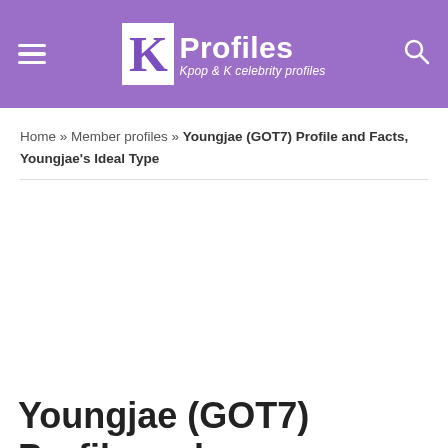KProfiles — Kpop & K celebrity profiles
Home » Member profiles » Youngjae (GOT7) Profile and Facts, Youngjae's Ideal Type
Youngjae (GOT7) Profile and